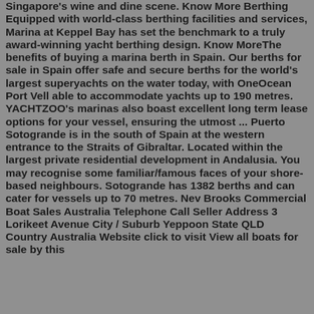Singapore's wine and dine scene. Know More Berthing Equipped with world-class berthing facilities and services, Marina at Keppel Bay has set the benchmark to a truly award-winning yacht berthing design. Know MoreThe benefits of buying a marina berth in Spain. Our berths for sale in Spain offer safe and secure berths for the world's largest superyachts on the water today, with OneOcean Port Vell able to accommodate yachts up to 190 metres. YACHTZOO's marinas also boast excellent long term lease options for your vessel, ensuring the utmost ... Puerto Sotogrande is in the south of Spain at the western entrance to the Straits of Gibraltar. Located within the largest private residential development in Andalusia. You may recognise some familiar/famous faces of your shore-based neighbours. Sotogrande has 1382 berths and can cater for vessels up to 70 metres. Nev Brooks Commercial Boat Sales Australia Telephone Call Seller Address 3 Lorikeet Avenue City / Suburb Yeppoon State QLD Country Australia Website click to visit View all boats for sale by this